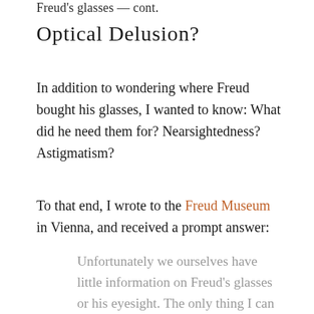Freud's glasses — cont.
Optical Delusion?
In addition to wondering where Freud bought his glasses, I wanted to know: What did he need them for? Nearsightedness? Astigmatism?
To that end, I wrote to the Freud Museum in Vienna, and received a prompt answer:
Unfortunately we ourselves have little information on Freud's glasses or his eyesight. The only thing I can tell you is that glasses like his were quite common in style during the